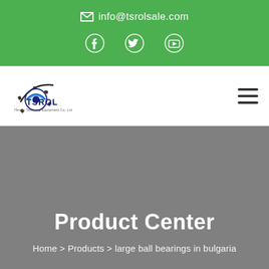info@tsrolsale.com
[Figure (logo): TSROL company logo with gear icon and text 'Henan Taisheng Equipment Co. Ltd']
Product Center
Home > Products > large ball bearings in bulgaria